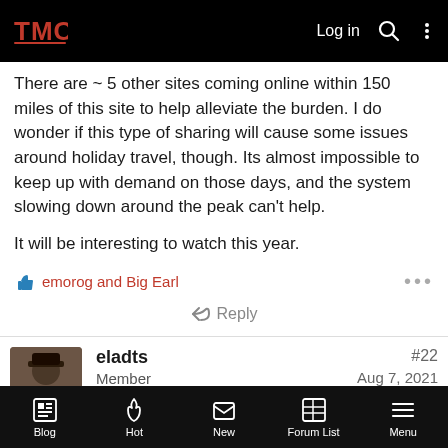TMC Log in [search] [menu]
There are ~ 5 other sites coming online within 150 miles of this site to help alleviate the burden. I do wonder if this type of sharing will cause some issues around holiday travel, though. Its almost impossible to keep up with demand on those days, and the system slowing down around the peak can't help.
It will be interesting to watch this year.
emorog and Big Earl
Reply
eladts
Member
#22
Aug 7, 2021
Blog  Hot  New  Forum List  Menu